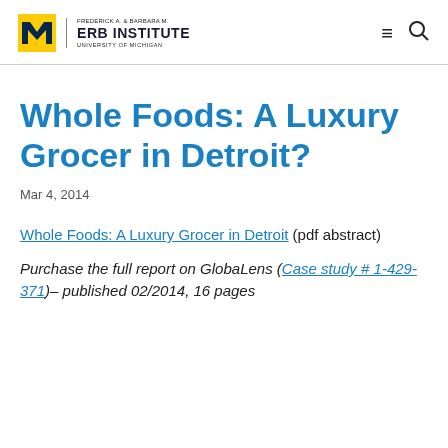Frederick A. & Barbara M. Erb Institute | University of Michigan
Whole Foods: A Luxury Grocer in Detroit?
Mar 4, 2014
Whole Foods: A Luxury Grocer in Detroit (pdf abstract)
Purchase the full report on GlobaLens (Case study # 1-429-371)– published 02/2014, 16 pages